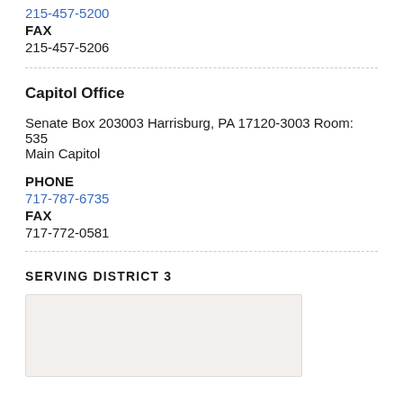215-457-5206 (phone link, truncated at top)
FAX
215-457-5206
Capitol Office
Senate Box 203003 Harrisburg, PA 17120-3003 Room: 535 Main Capitol
PHONE
717-787-6735
FAX
717-772-0581
SERVING DISTRICT 3
[Figure (map): Map image placeholder showing district 3 area, light beige/cream background]